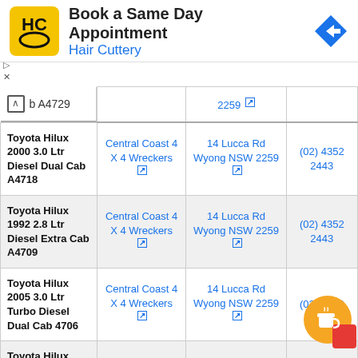[Figure (screenshot): Hair Cuttery advertisement banner with yellow HC logo, text 'Book a Same Day Appointment' and blue 'Hair Cuttery' subtitle, blue diamond direction arrow on right]
|  | b A4729 |  |  |  |
| --- | --- | --- | --- | --- |
| Toyota Hilux 2000 3.0 Ltr Diesel Dual Cab A4718 | Central Coast 4 X 4 Wreckers | 14 Lucca Rd Wyong NSW 2259 | (02) 4352 2443 |
| Toyota Hilux 1992 2.8 Ltr Diesel Extra Cab A4709 | Central Coast 4 X 4 Wreckers | 14 Lucca Rd Wyong NSW 2259 | (02) 4352 2443 |
| Toyota Hilux 2005 3.0 Ltr Turbo Diesel Dual Cab 4706 | Central Coast 4 X 4 Wreckers | 14 Lucca Rd Wyong NSW 2259 | (02) 4352 |
| Toyota Hilux |  |  |  |